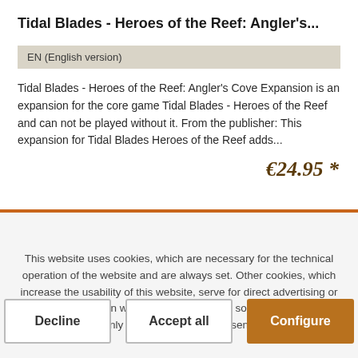Tidal Blades - Heroes of the Reef: Angler's...
EN (English version)
Tidal Blades - Heroes of the Reef: Angler's Cove Expansion is an expansion for the core game Tidal Blades - Heroes of the Reef and can not be played without it. From the publisher: This expansion for Tidal Blades Heroes of the Reef adds...
€24.95 *
This website uses cookies, which are necessary for the technical operation of the website and are always set. Other cookies, which increase the usability of this website, serve for direct advertising or simplify interaction with other websites and social networks, will only be used with your consent.
Decline
Accept all
Configure